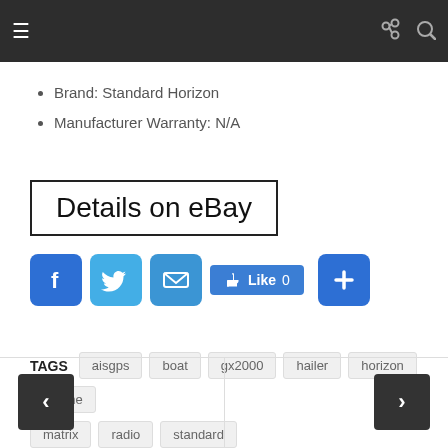Navigation bar with hamburger menu and search/link icons
Brand: Standard Horizon
Manufacturer Warranty: N/A
[Figure (other): Details on eBay button link with black border]
[Figure (other): Social share buttons: Facebook, Twitter, Email, Like 0, Plus]
TAGS  aisgps  boat  gx2000  hailer  horizon  marine  matrix  radio  standard
[Figure (other): Bottom navigation with previous and next arrow buttons]